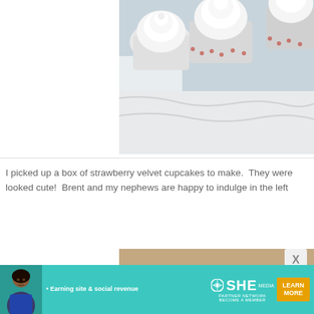[Figure (photo): Overhead view of strawberry velvet cupcakes with white frosting in white paper liners on a light surface, cropped showing right portion of image]
I picked up a box of strawberry velvet cupcakes to make.  They were looked cute!  Brent and my nephews are happy to indulge in the left
[Figure (photo): Close-up of a strawberry velvet cupcake with swirled frosting in a red paper liner on a wooden surface, blurred background]
[Figure (infographic): SHE Partner Network advertisement banner: teal background with woman photo on left, bullet point 'Earning site & social revenue', SHE logo with globe icon, PARTNER NETWORK BECOME A MEMBER text, and orange LEARN MORE button]